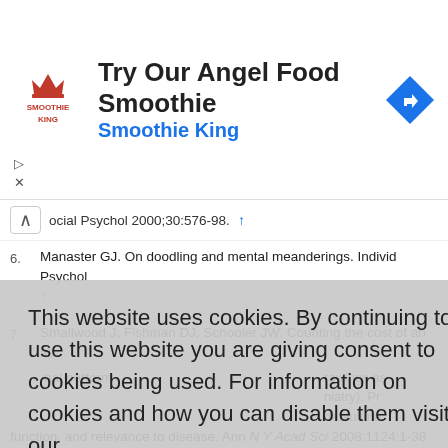[Figure (screenshot): Smoothie King advertisement banner with logo, text 'Try Our Angel Food Smoothie' and 'Smoothie King', and a blue direction arrow icon. Includes ad close controls (play/close icons).]
ocial Psychol 2000;30:576-98. ↑
6. Manaster GJ. On doodling and mental meanderings. Individ Psychol ↑
7. Smallwood J, Fishman DJ, Schooler JW. Counting the cost of an ab… nal perform…
This website uses cookies. By continuing to use this website you are giving consent to cookies being used. For information on cookies and how you can disable them visit our
Privacy and Cookie Policy.
AGREE & PROCEED
rawings as… niatry). Pr… default ne…
function, and relevance to disease. Ann N Y Acad Sci 2008;1124:1-38